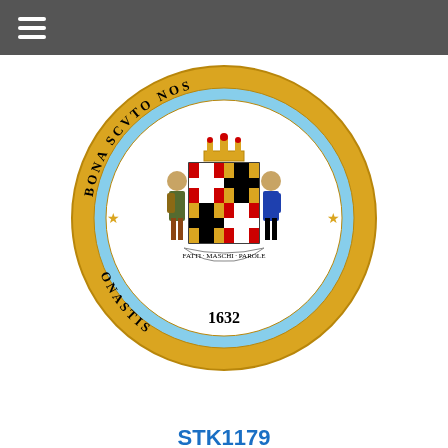[Figure (logo): Maryland State Seal - circular gold seal with two figures flanking a shield, text 'BONA' and 'SCVTO NOS' around edge, '1632' at bottom]
STK1179
State Seal of Maryland
State Seal of Maryland
$5.99 - $23.99
[Figure (illustration): Red cable car / trolley illustration on tracks]